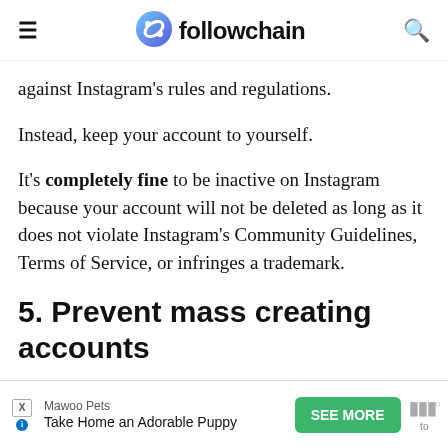followchain
against Instagram’s rules and regulations.
Instead, keep your account to yourself.
It’s completely fine to be inactive on Instagram because your account will not be deleted as long as it does not violate Instagram’s Community Guidelines, Terms of Service, or infringes a trademark.
5. Prevent mass creating accounts